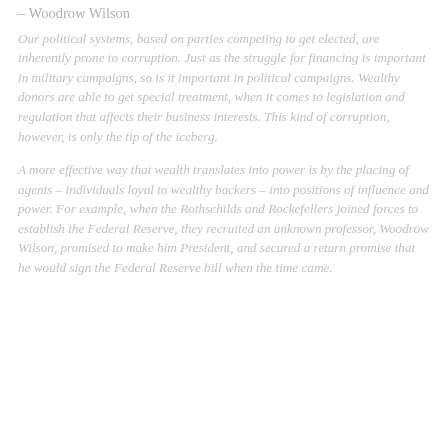– Woodrow Wilson
Our political systems, based on parties competing to get elected, are inherently prone to corruption. Just as the struggle for financing is important in military campaigns, so is it important in political campaigns. Wealthy donors are able to get special treatment, when it comes to legislation and regulation that affects their business interests. This kind of corruption, however, is only the tip of the iceberg.
A more effective way that wealth translates into power is by the placing of agents – individuals loyal to wealthy backers – into positions of influence and power. For example, when the Rothschilds and Rockefellers joined forces to establish the Federal Reserve, they recruited an unknown professor, Woodrow Wilson, promised to make him President, and secured a return promise that he would sign the Federal Reserve bill when the time came.